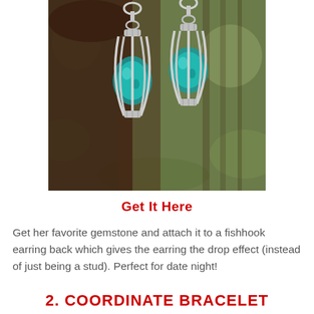[Figure (photo): Two teal/turquoise gemstone cage drop earrings with silver wire cage settings and fishhook backs, held by a dark-skinned hand against a blurred green outdoor background.]
Get It Here
Get her favorite gemstone and attach it to a fishhook earring back which gives the earring the drop effect (instead of just being a stud). Perfect for date night!
Share This ∨
2. COORDINATE BRACELET